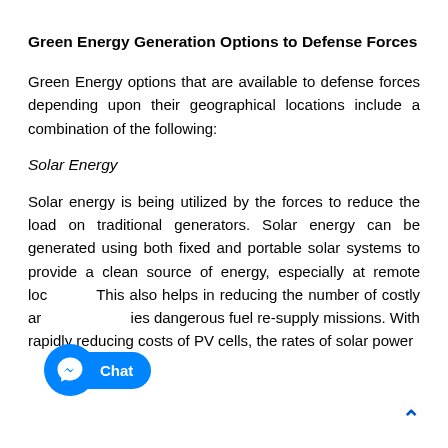Green Energy Generation Options to Defense Forces
Green Energy options that are available to defense forces depending upon their geographical locations include a combination of the following:
Solar Energy
Solar energy is being utilized by the forces to reduce the load on traditional generators. Solar energy can be generated using both fixed and portable solar systems to provide a clean source of energy, especially at remote locations. This also helps in reducing the number of costly and sometimes dangerous fuel re-supply missions. With the rapidly reducing costs of PV cells, the rates of solar power